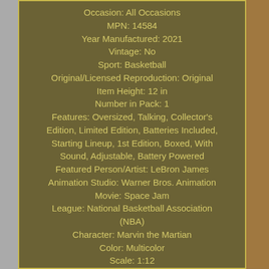Occasion: All Occasions
MPN: 14584
Year Manufactured: 2021
Vintage: No
Sport: Basketball
Original/Licensed Reproduction: Original
Item Height: 12 in
Number in Pack: 1
Features: Oversized, Talking, Collector's Edition, Limited Edition, Batteries Included, Starting Lineup, 1st Edition, Boxed, With Sound, Adjustable, Battery Powered
Featured Person/Artist: LeBron James
Animation Studio: Warner Bros. Animation
Movie: Space Jam
League: National Basketball Association (NBA)
Character: Marvin the Martian
Color: Multicolor
Scale: 1:12
Material: Plush, Plastic
Age Level: 4+
Animal Species: Rabbit